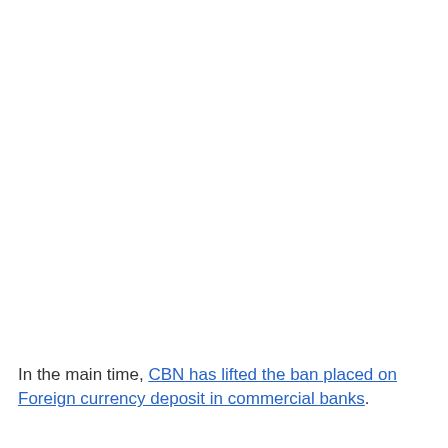In the main time, CBN has lifted the ban placed on Foreign currency deposit in commercial banks.